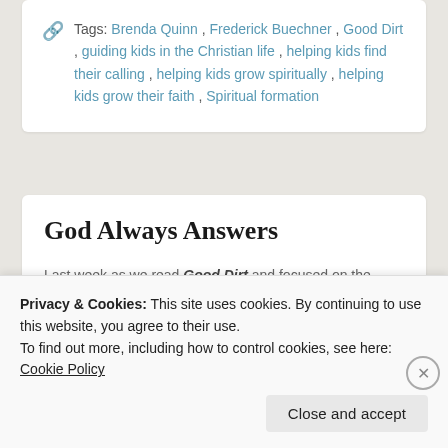Tags: Brenda Quinn, Frederick Buechner, Good Dirt, guiding kids in the Christian life, helping kids find their calling, helping kids grow spiritually, helping kids grow their faith, Spiritual formation
God Always Answers
Last week as we read Good Dirt and focused on the passage from Luke 11 where Jesus teaches the disciples to pray with
Privacy & Cookies: This site uses cookies. By continuing to use this website, you agree to their use.
To find out more, including how to control cookies, see here: Cookie Policy